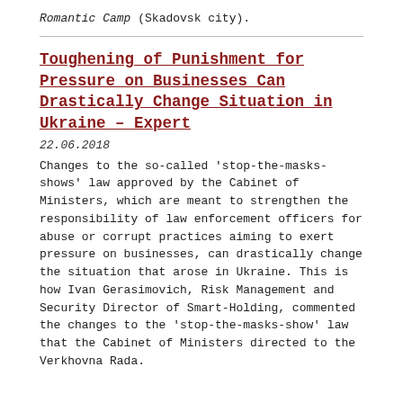Romantic Camp (Skadovsk city).
Toughening of Punishment for Pressure on Businesses Can Drastically Change Situation in Ukraine – Expert
22.06.2018
Changes to the so-called 'stop-the-masks-shows' law approved by the Cabinet of Ministers, which are meant to strengthen the responsibility of law enforcement officers for abuse or corrupt practices aiming to exert pressure on businesses, can drastically change the situation that arose in Ukraine. This is how Ivan Gerasimovich, Risk Management and Security Director of Smart-Holding, commented the changes to the 'stop-the-masks-show' law that the Cabinet of Ministers directed to the Verkhovna Rada.